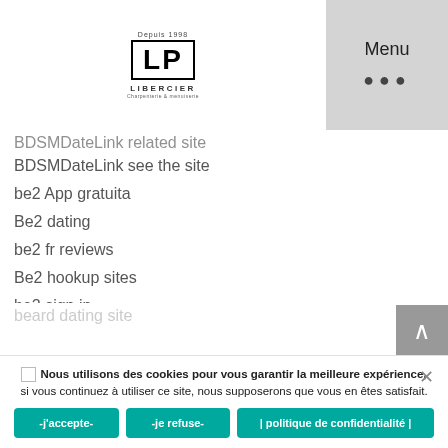[Figure (logo): LP Libercier logo with 'Depuis 1998' text above and brand name below]
Menu
BDSMDateLink related site (partially visible, cut off at top)
BDSMDateLink see the site
be2 App gratuita
Be2 dating
be2 fr reviews
Be2 hookup sites
be2 sign in
be2 visitors
Be2 web
beard dating site (partially visible)
BeautifulPeople app (partially visible)
Nous utilisons des cookies pour vous garantir la meilleure expérience, si vous continuez à utiliser ce site, nous supposerons que vous en êtes satisfait.
-j'accepte-
-je refuse-
| politique de confidentialité |